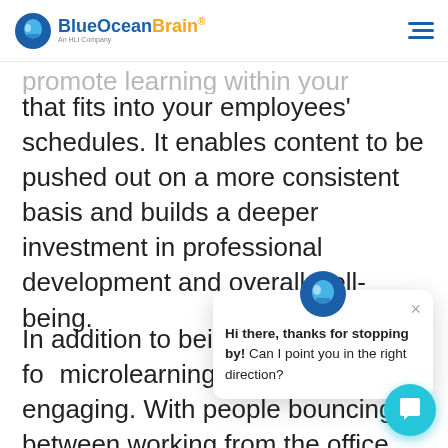BlueOceanBrain — An HLI Company
promote learning within your organization that fits into your employees' schedules. It enables content to be pushed out on a more consistent basis and builds a deeper investment in professional development and overall well-being.
In addition to being minimizing the for microlearning also more engaging. With people bouncing between working from the office and ho microlearning allows people to learn at a
[Figure (screenshot): Chat popup widget from BlueOceanBrain with avatar icon and message: Hi there, thanks for stopping by! Can I point you in the right direction?]